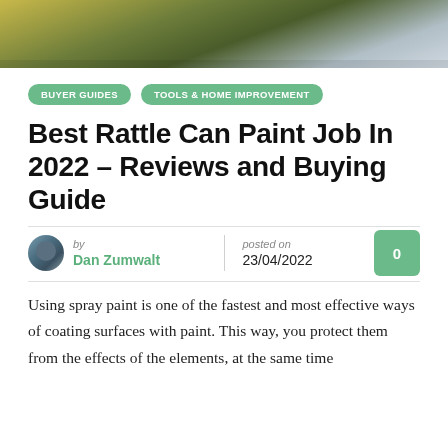[Figure (photo): Top portion of a vehicle painting scene with olive green and yellow colors visible]
BUYER GUIDES | TOOLS & HOME IMPROVEMENT
Best Rattle Can Paint Job In 2022 – Reviews and Buying Guide
by Dan Zumwalt | posted on 23/04/2022 | 0 comments
Using spray paint is one of the fastest and most effective ways of coating surfaces with paint. This way, you protect them from the effects of the elements, at the same time